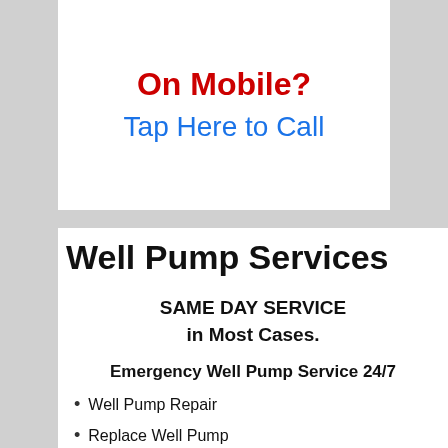On Mobile?
Tap Here to Call
Well Pump Services
SAME DAY SERVICE in Most Cases.
Emergency Well Pump Service 24/7
Well Pump Repair
Replace Well Pump
Replace Water Storage Tank